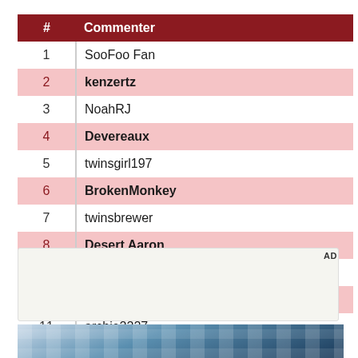| # | Commenter |
| --- | --- |
| 1 | SooFoo Fan |
| 2 | kenzertz |
| 3 | NoahRJ |
| 4 | Devereaux |
| 5 | twinsgirl197 |
| 6 | BrokenMonkey |
| 7 | twinsbrewer |
| 8 | Desert Aaron |
| 9 | Black Metallic |
| 10 | montanatwinsfan |
| 11 | archie2227 |
[Figure (other): Advertisement box (AD label visible) above a partial photo of a building with blue glass windows]